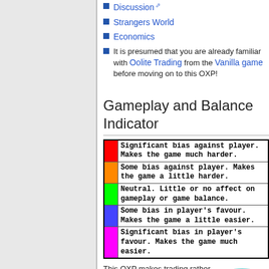Discussion [external link]
Strangers World
Economics
It is presumed that you are already familiar with Oolite Trading from the Vanilla game before moving on to this OXP!
Gameplay and Balance Indicator
| (red) | Significant bias against player. Makes the game much harder. |
| (orange) | Some bias against player. Makes the game a little harder. |
| (green) | Neutral. Little or no affect on gameplay or game balance. |
| (blue) | Some bias in player's favour. Makes the game a little easier. |
| (magenta) | Significant bias in player's favour. Makes the game much easier. |
This OXP makes trading rather more complex
there is now a trading triad (agricultural - mining - industrial)
factors such as economic type, GDP, planet size & TL now determine the availability of commodities.